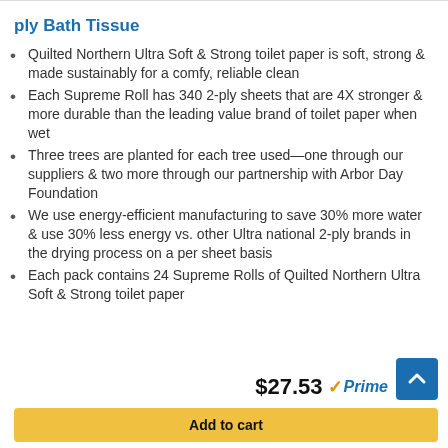ply Bath Tissue
Quilted Northern Ultra Soft & Strong toilet paper is soft, strong & made sustainably for a comfy, reliable clean
Each Supreme Roll has 340 2-ply sheets that are 4X stronger & more durable than the leading value brand of toilet paper when wet
Three trees are planted for each tree used—one through our suppliers & two more through our partnership with Arbor Day Foundation
We use energy-efficient manufacturing to save 30% more water & use 30% less energy vs. other Ultra national 2-ply brands in the drying process on a per sheet basis
Each pack contains 24 Supreme Rolls of Quilted Northern Ultra Soft & Strong toilet paper
$27.53 ✓Prime